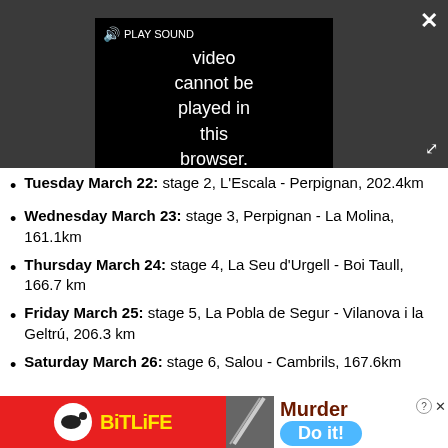[Figure (screenshot): Video player showing error: 'Video cannot be played in this browser. (Error Cod' with PLAY SOUND button and speaker icon. Dark grey background with black video area.]
Tuesday March 22: stage 2, L'Escala - Perpignan, 202.4km
Wednesday March 23: stage 3, Perpignan - La Molina, 161.1km
Thursday March 24: stage 4, La Seu d'Urgell - Boi Taull, 166.7 km
Friday March 25: stage 5, La Pobla de Segur - Vilanova i la Geltrú, 206.3 km
Saturday March 26: stage 6, Salou - Cambrils, 167.6km
[Figure (screenshot): Advertisement banner for BitLife app showing logo, 'Murder Do it!' text on blue button, with close button.]